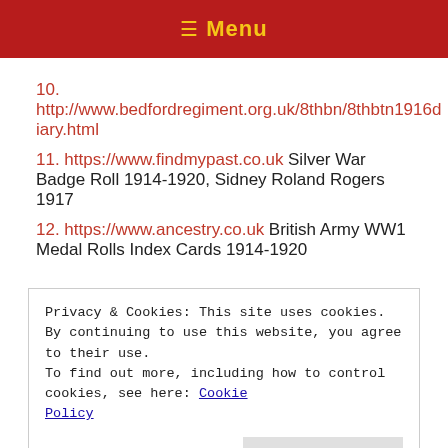≡ Menu
10. http://www.bedfordregiment.org.uk/8thbn/8thbtn1916diary.html
11. https://www.findmypast.co.uk Silver War Badge Roll 1914-1920, Sidney Roland Rogers 1917
12. https://www.ancestry.co.uk  British Army WW1 Medal Rolls Index Cards 1914-1920
Privacy & Cookies: This site uses cookies. By continuing to use this website, you agree to their use.
To find out more, including how to control cookies, see here: Cookie Policy
Close and accept